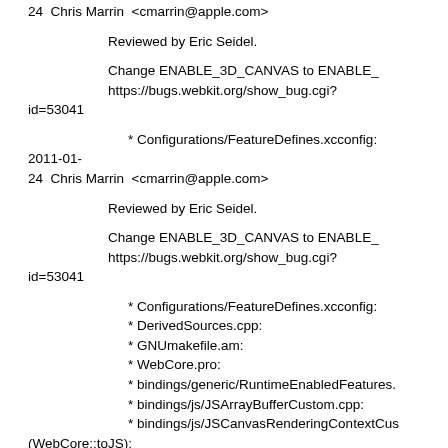24  Chris Marrin  <cmarrin@apple.com>
Reviewed by Eric Seidel.
Change ENABLE_3D_CANVAS to ENABLE_
https://bugs.webkit.org/show_bug.cgi?id=53041
* Configurations/FeatureDefines.xcconfig:
2011-01-
24  Chris Marrin  <cmarrin@apple.com>
Reviewed by Eric Seidel.
Change ENABLE_3D_CANVAS to ENABLE_
https://bugs.webkit.org/show_bug.cgi?id=53041
* Configurations/FeatureDefines.xcconfig:
* DerivedSources.cpp:
* GNUmakefile.am:
* WebCore.pro:
* bindings/generic/RuntimeEnabledFeatures.
* bindings/js/JSArrayBufferCustom.cpp:
* bindings/js/JSCanvasRenderingContextCus (WebCore::toJS):
* bindings/js/JSDOMWindowCustom.cpp:
* bindings/js/JSDataViewCustom.cpp:
* bindings/js/JSDocumentCustom.cpp:
* bindings/js/JSFloat32ArrayCustom.cpp: